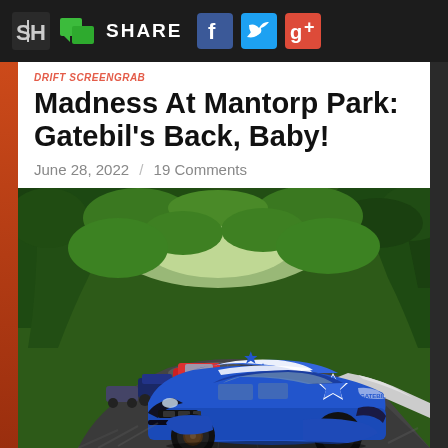SH SHARE [Facebook] [Twitter] [Google+]
Madness At Mantorp Park: Gatebil's Back, Baby!
June 28, 2022 / 19 Comments
[Figure (photo): Blue drift car with star graphic livery leading a pack of cars including a red car on a tree-lined circuit track at Mantorp Park during Gatebil event]